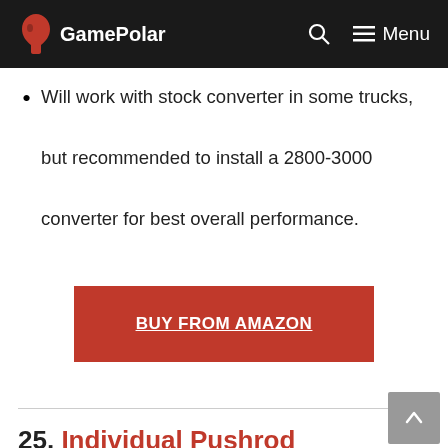GamePolar
Will work with stock converter in some trucks, but recommended to install a 2800-3000 converter for best overall performance.
[Figure (other): Red 'BUY FROM AMAZON' button]
25. Individual Pushrod Length Checker adjustable Range 6.800″ to 7.800″ -Automotive